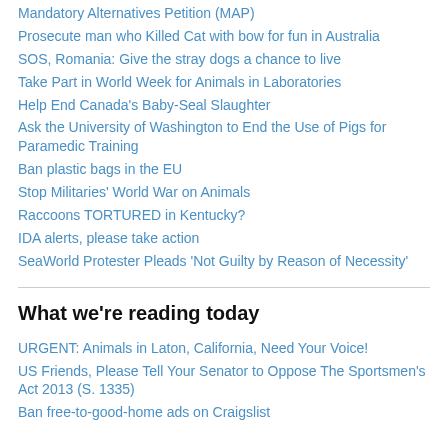Mandatory Alternatives Petition (MAP)
Prosecute man who Killed Cat with bow for fun in Australia
SOS, Romania: Give the stray dogs a chance to live
Take Part in World Week for Animals in Laboratories
Help End Canada's Baby-Seal Slaughter
Ask the University of Washington to End the Use of Pigs for Paramedic Training
Ban plastic bags in the EU
Stop Militaries' World War on Animals
Raccoons TORTURED in Kentucky?
IDA alerts, please take action
SeaWorld Protester Pleads 'Not Guilty by Reason of Necessity'
What we're reading today
URGENT: Animals in Laton, California, Need Your Voice!
US Friends, Please Tell Your Senator to Oppose The Sportsmen's Act 2013 (S. 1335)
Ban free-to-good-home ads on Craigslist